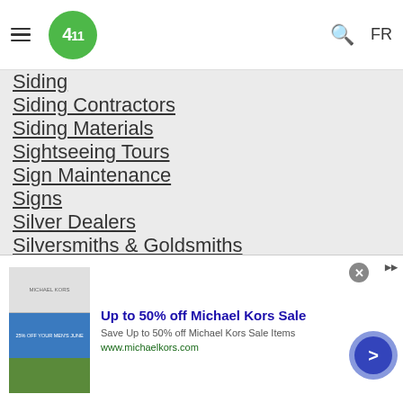411 logo, hamburger menu, search icon, FR language toggle
Siding
Siding Contractors
Siding Materials
Sightseeing Tours
Sign Maintenance
Signs
Silver Dealers
Silversmiths & Goldsmiths
Skateboarding
Skating Lessons
[Figure (screenshot): Advertisement banner: Up to 50% off Michael Kors Sale. Save Up to 50% off Michael Kors Sale Items. www.michaelkors.com]